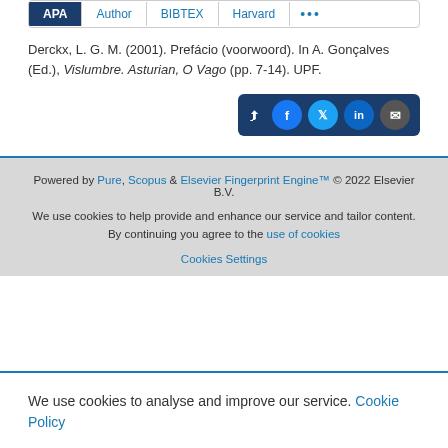APA | Author | BIBTEX | Harvard | ...
Derckx, L. G. M. (2001). Prefácio (voorwoord). In A. Gonçalves (Ed.), Vislumbre. Asturian, O Vago (pp. 7-14). UPF.
[Figure (other): Share bar with social media icons: share symbol, Facebook, Twitter, LinkedIn, Email]
Powered by Pure, Scopus & Elsevier Fingerprint Engine™ © 2022 Elsevier B.V.
We use cookies to help provide and enhance our service and tailor content. By continuing you agree to the use of cookies
Cookies Settings
We use cookies to analyse and improve our service. Cookie Policy